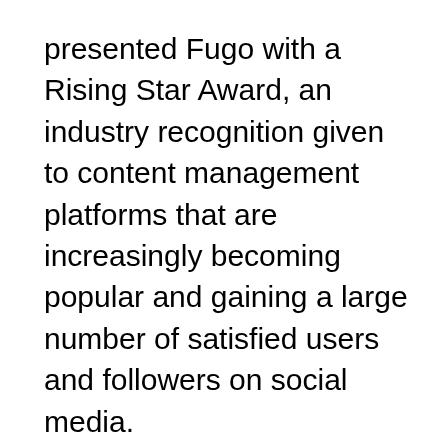presented Fugo with a Rising Star Award, an industry recognition given to content management platforms that are increasingly becoming popular and gaining a large number of satisfied users and followers on social media.
To determine which solutions are among the most popular and well-loved by customers, FinancesOnline analyzed a long list of content management software products based on a series of stringent criteria. Due to Fugo's exceptional performance as a powerful and affordable digital signage